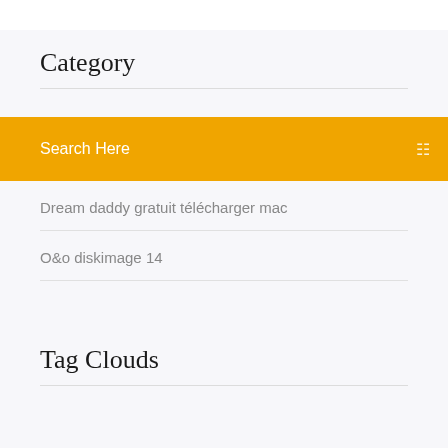Category
Search Here
Dream daddy gratuit télécharger mac
O&o diskimage 14
Tag Clouds